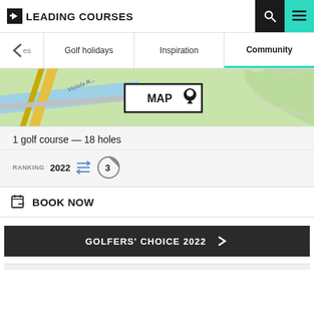LEADING COURSES
Golf holidays | Inspiration | Community
[Figure (map): Map showing Vistula river area with roads and green terrain, with a MAP button overlay]
1 golf course — 18 holes
RANKING 2022
BOOK NOW
GOLFERS' CHOICE 2022